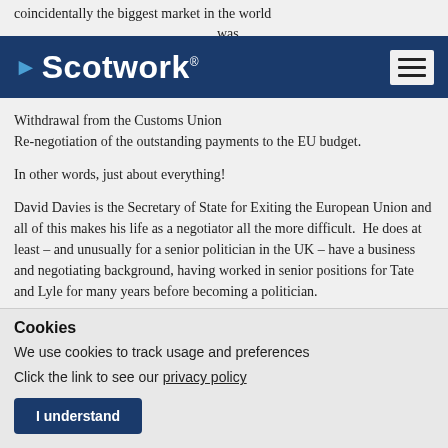coincidentally the biggest market in the world was in
[Figure (logo): Scotwork navigation bar with blue background, white bold 'Scotwork' logo text with registered trademark symbol, left arrow icon, and hamburger menu icon on the right]
Withdrawal from the Customs Union Re-negotiation of the outstanding payments to the EU budget.
In other words, just about everything!
David Davies is the Secretary of State for Exiting the European Union and all of this makes his life as a negotiator all the more difficult.  He does at least – and unusually for a senior politician in the UK – have a business and negotiating background, having worked in senior positions for Tate and Lyle for many years before becoming a politician.
Cookies
We use cookies to track usage and preferences
Click the link to see our privacy policy
I understand